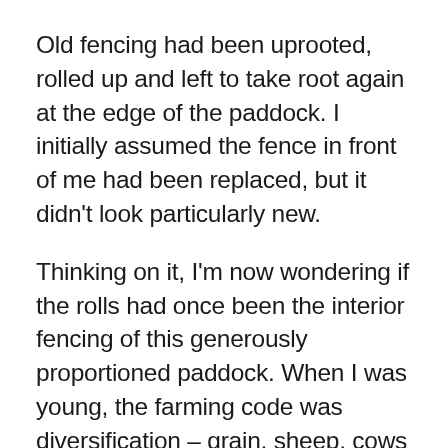Old fencing had been uprooted, rolled up and left to take root again at the edge of the paddock. I initially assumed the fence in front of me had been replaced, but it didn't look particularly new.
Thinking on it, I'm now wondering if the rolls had once been the interior fencing of this generously proportioned paddock. When I was young, the farming code was diversification – grain, sheep, cows and pigs – a variety to ensure an income of some sort if any sector was struggling. Only in the severest of lengthy droughts would there be no income at all.
Today, specialisation is the market driver, economies of scale, with some value adding if feasible. Today, this is cropping country and the